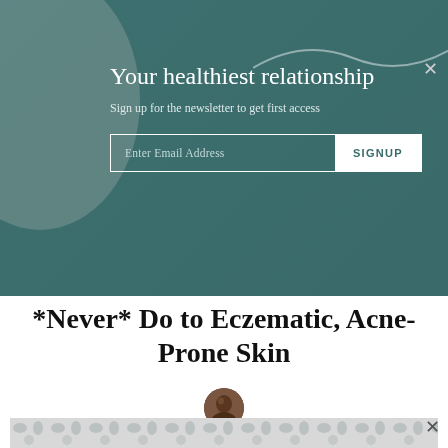Our editors independently select these products. Making a
Your healthiest relationship
Sign up for the newsletter to get first access
Enter Email Address   SIGNUP
*Never* Do to Eczematic, Acne-Prone Skin
[Figure (photo): Author headshot of Kara Jillian Brown, circular avatar]
Kara Jillian Brown
July 27, 2022
[Figure (other): Advertisement banner with pattern at bottom of page]